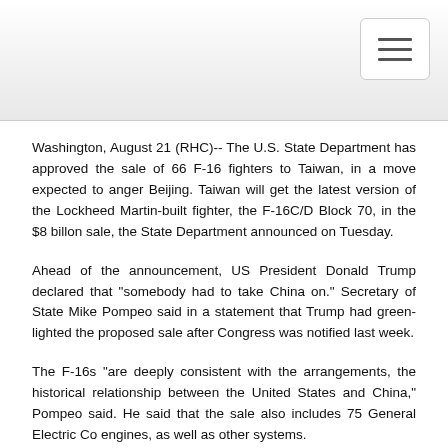Washington, August 21 (RHC)-- The U.S. State Department has approved the sale of 66 F-16 fighters to Taiwan, in a move expected to anger Beijing.  Taiwan will get the latest version of the Lockheed Martin-built fighter, the F-16C/D Block 70, in the $8 billon sale, the State Department announced on Tuesday.
Ahead of the announcement, US President Donald Trump declared that "somebody had to take China on."   Secretary of State Mike Pompeo said in a statement that Trump had green-lighted the proposed sale after Congress was notified last week.
The F-16s "are deeply consistent with the arrangements, the historical relationship between the United States and China," Pompeo said.  He said that the sale also includes 75 General Electric Co engines, as well as other systems.
U.S. Senate Foreign Relations Committee Chairman Jim Risch, a Republican, has welcomed the sale, saying "these fighters are critical